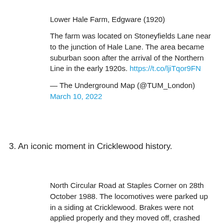Lower Hale Farm, Edgware (1920)
The farm was located on Stoneyfields Lane near to the junction of Hale Lane. The area became suburban soon after the arrival of the Northern Line in the early 1920s. https://t.co/ljiTqor9FN
— The Underground Map (@TUM_London) March 10, 2022
3. An iconic moment in Cricklewood history.
North Circular Road at Staples Corner on 28th October 1988. The locomotives were parked up in a siding at Cricklewood. Brakes were not applied properly and they moved off, crashed through the buffers and crashed down onto the road. No-body injured. But the engines careered down and